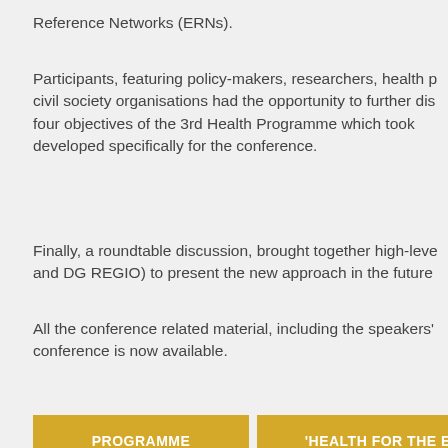Reference Networks (ERNs).
Participants, featuring policy-makers, researchers, health p civil society organisations had the opportunity to further dis four objectives of the 3rd Health Programme which took developed specifically for the conference.
Finally, a roundtable discussion, brought together high-leve and DG REGIO) to present the new approach in the future
All the conference related material, including the speakers' conference is now available.
PROGRAMME
'HEALTH FOR THE EU' BOOKLET